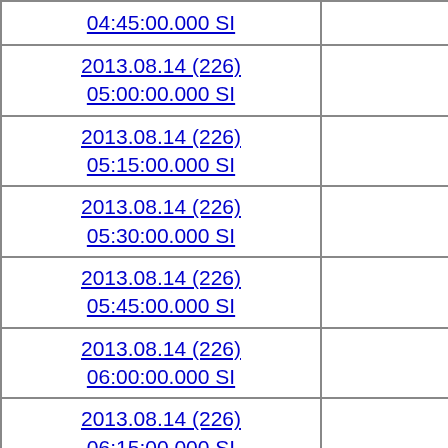| 04:45:00.000 SI |
| 2013.08.14 (226)
05:00:00.000 SI |
| 2013.08.14 (226)
05:15:00.000 SI |
| 2013.08.14 (226)
05:30:00.000 SI |
| 2013.08.14 (226)
05:45:00.000 SI |
| 2013.08.14 (226)
06:00:00.000 SI |
| 2013.08.14 (226)
06:15:00.000 SI |
| 2013.08.14 (226)
06:30:00.000 SI |
| 2013.08.14 (226)
06:45:00.000 SI |
| 2013.08.14 (226) |